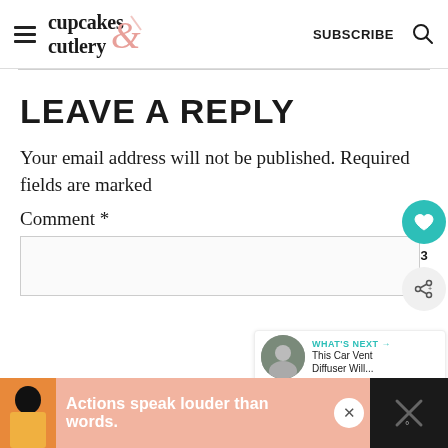cupcakes & cutlery — SUBSCRIBE
LEAVE A REPLY
Your email address will not be published. Required fields are marked
Comment *
[Figure (screenshot): Sidebar with heart icon (teal circle, heart symbol), count '3', and share icon button]
[Figure (screenshot): WHAT'S NEXT panel with thumbnail image and text 'This Car Vent Diffuser Will...']
[Figure (screenshot): Ad bar at bottom: person figure, text 'Actions speak louder than words.', close X button, dark right panel]